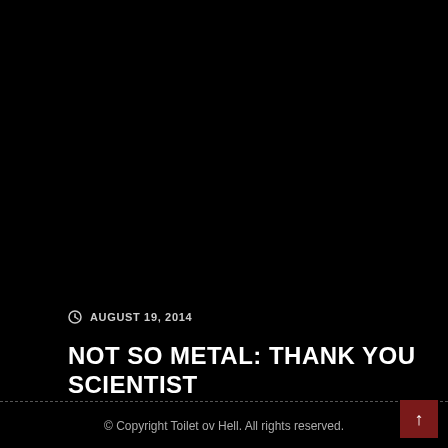AUGUST 19, 2014
NOT SO METAL: THANK YOU SCIENTIST
© Copyright Toilet ov Hell. All rights reserved.